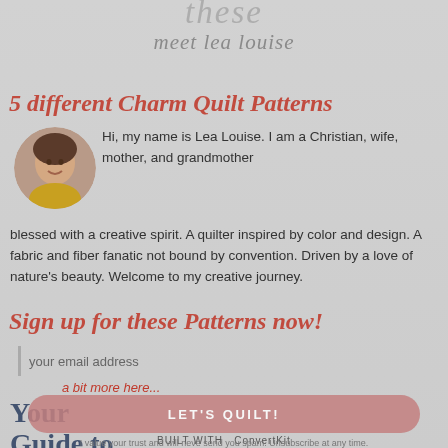these
meet lea louise
5 different Charm Quilt Patterns
[Figure (photo): Circular portrait photo of Lea Louise, a woman with dark hair wearing a yellow top.]
Hi, my name is Lea Louise. I am a Christian, wife, mother, and grandmother blessed with a creative spirit. A quilter inspired by color and design. A fabric and fiber fanatic not bound by convention. Driven by a love of nature's beauty. Welcome to my creative journey.
Sign up for these Patterns now!
your email address
a bit more here...
LET'S QUILT!
I value your trust and will neve send you spam. Unsubscribe at any time.
Your Guide to
BUILT WITH ConvertKit